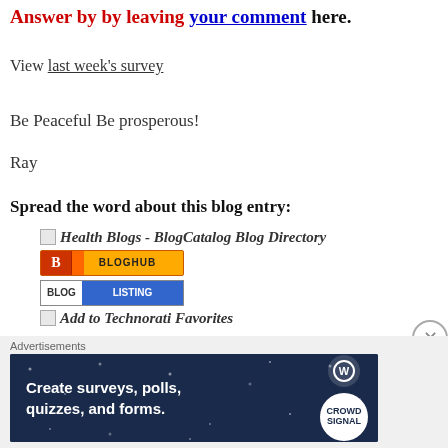Answer by by leaving your comment here.
View last week's survey
Be Peaceful Be prosperous!
Ray
Spread the word about this blog entry:
[Figure (other): Health Blogs - BlogCatalog Blog Directory badge with small image placeholder]
[Figure (other): BlogHub badge - orange/yellow with B logo and BLOGHUB text]
[Figure (other): Blog Listing badge - white BLOG and blue LISTING text]
[Figure (other): Add to Technorati Favorites badge with small image placeholder]
Advertisements
[Figure (other): Advertisement banner: Create surveys, polls, quizzes, and forms. Dark blue background with WordPress and Crowdsignal logos.]